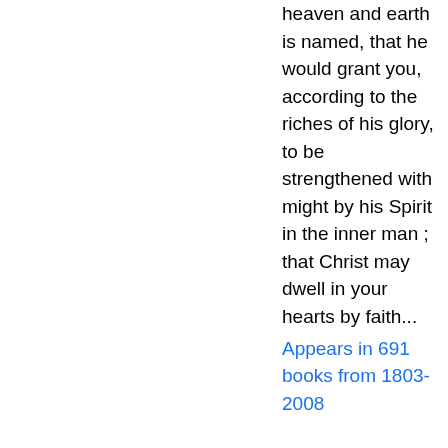heaven and earth is named, that he would grant you, according to the riches of his glory, to be strengthened with might by his Spirit in the inner man ; that Christ may dwell in your hearts by faith...
Appears in 691 books from 1803-2008
Page 501 - For I know this, that after my departing shall grievous wolves enter in among you, not sparing the flock. Also of your own selves shall men arise, speaking perverse things, to draw away disciples after them.
Appears in 1115 books from 1755-2008